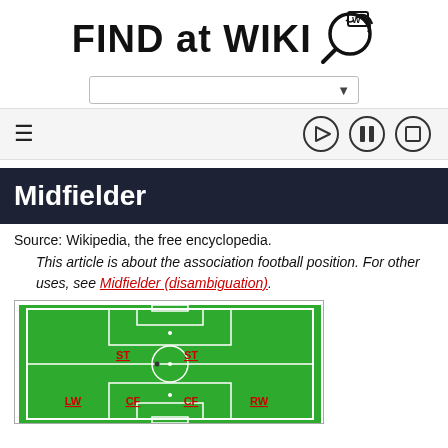FIND at WIKI
[Figure (screenshot): Search bar dropdown UI element]
[Figure (infographic): Toolbar with hamburger menu and play/pause/stop controls]
Midfielder
Source: Wikipedia, the free encyclopedia.
This article is about the association football position. For other uses, see Midfielder (disambiguation).
[Figure (illustration): Soccer/football field diagram showing player positions: ST, ST, LW, CF, CF, RW]